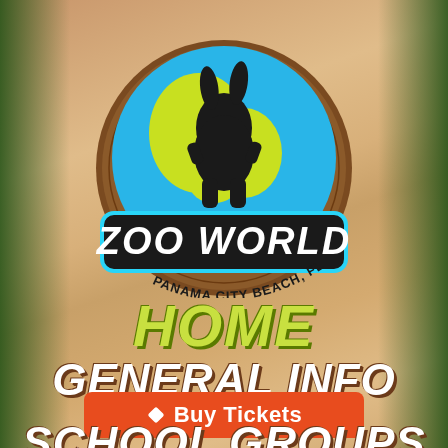[Figure (logo): Zoo World Panama City Beach FL logo — circular wood-slice badge with globe (blue and yellow-green), black animal silhouette, bold 'ZOO WORLD' text with cyan outline, 'PANAMA CITY BEACH, FL' text around the bottom]
HOME
GENERAL INFO
Buy Tickets
SCHOOL GROUPS